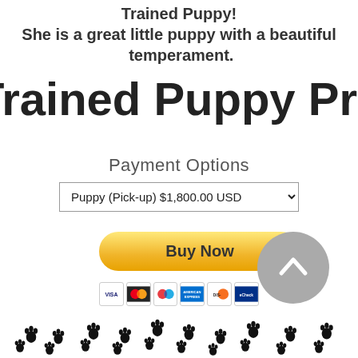Trained Puppy! She is a great little puppy with a beautiful temperament.
Trained Puppy Price $
Payment Options
Puppy (Pick-up) $1,800.00 USD
[Figure (other): Buy Now PayPal button with payment card logos (Visa, Mastercard, Discover, AMEX, etc.)]
[Figure (other): Gray circular back-to-top button with upward chevron arrow]
[Figure (illustration): Row of paw print decorations along bottom of page]